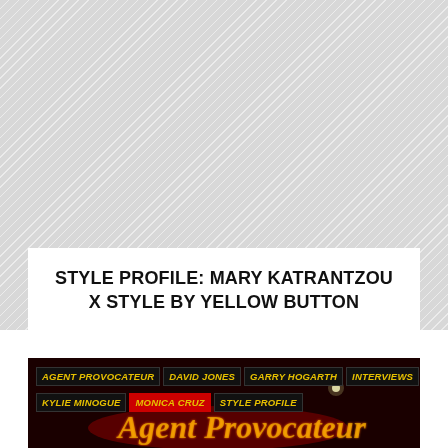[Figure (photo): Diagonal hatched grey background pattern filling the upper portion of the page]
STYLE PROFILE: MARY KATRANTZOU X STYLE BY YELLOW BUTTON
[Figure (photo): Dark red background image with neon script sign reading 'Agent Provocateur' and category tag labels: AGENT PROVOCATEUR, DAVID JONES, GARRY HOGARTH, INTERVIEWS, KYLIE MINOGUE, MONICA CRUZ, STYLE PROFILE, with neon glowing cursive text visible below the tags]